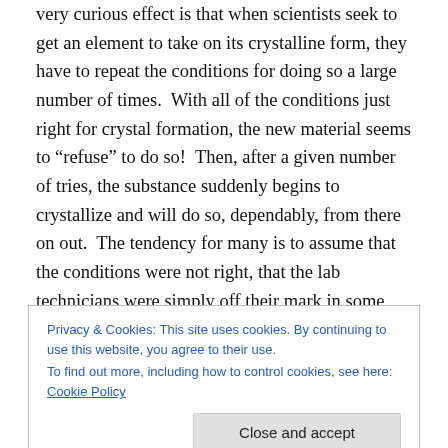very curious effect is that when scientists seek to get an element to take on its crystalline form, they have to repeat the conditions for doing so a large number of times.  With all of the conditions just right for crystal formation, the new material seems to “refuse” to do so!  Then, after a given number of tries, the substance suddenly begins to crystallize and will do so, dependably, from there on out.  The tendency for many is to assume that the conditions were not right, that the lab technicians were simply off their mark in some way.  But add to this a second wrinkle and you can begin to appreciate what Sheldrake is pointing to
Privacy & Cookies: This site uses cookies. By continuing to use this website, you agree to their use.
To find out more, including how to control cookies, see here: Cookie Policy
Close and accept
the other locations.  Next, a lab that has done this